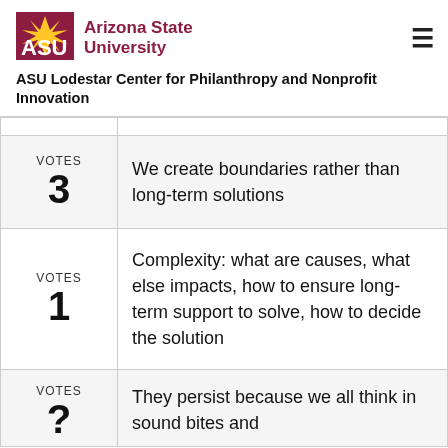ASU Lodestar Center for Philanthropy and Nonprofit Innovation
| VOTES | Description |
| --- | --- |
| VOTES 3 | We create boundaries rather than long-term solutions |
| VOTES 1 | Complexity: what are causes, what else impacts, how to ensure long-term support to solve, how to decide the solution |
| VOTES ? | They persist because we all think in sound bites and... |